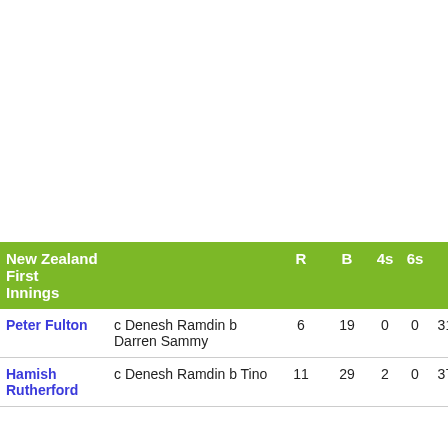| New Zealand First Innings |  | R | B | 4s | 6s | SR |
| --- | --- | --- | --- | --- | --- | --- |
| Peter Fulton | c Denesh Ramdin b Darren Sammy | 6 | 19 | 0 | 0 | 31.579 |
| Hamish Rutherford | c Denesh Ramdin b Tino ... | 11 | 29 | 2 | 0 | 37.931 |